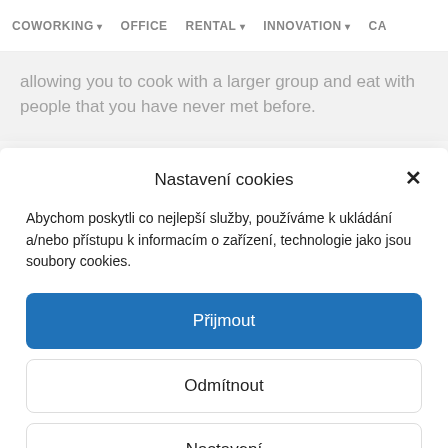COWORKING  OFFICE  RENTAL  INNOVATION  CA
allowing you to cook with a larger group and eat with people that you have never met before.
Nastavení cookies
Abychom poskytli co nejlepší služby, používáme k ukládání a/nebo přístupu k informacím o zařízení, technologie jako jsou soubory cookies.
Přijmout
Odmítnout
Nastavení
Personal data protection